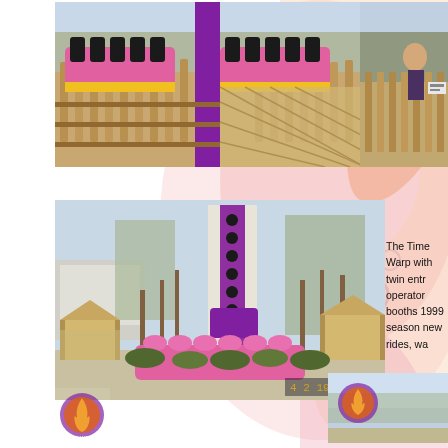[Figure (photo): Roller coaster ride cars with pink and yellow seats at a loading station with wooden fence and structure]
[Figure (photo): Close-up of roller coaster at the station, person visible near fence]
[Figure (photo): Time Warp ride tower with tall purple column, pink ride cars at base, wooden gazebo structures, bare trees in background, dated April 2 1999]
The Time Warp with twin entr operator booths 1999 season new rides, wa
[Figure (logo): Wild Waves or similar amusement park logo bottom left]
[Figure (photo): Amusement park sign or building bottom right]